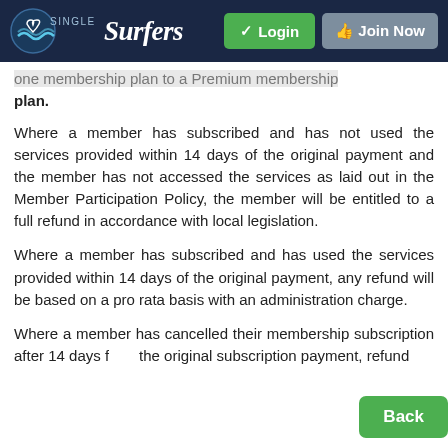Single Surfers — Login | Join Now
...one membership plan to a Premium membership plan.
Where a member has subscribed and has not used the services provided within 14 days of the original payment and the member has not accessed the services as laid out in the Member Participation Policy, the member will be entitled to a full refund in accordance with local legislation.
Where a member has subscribed and has used the services provided within 14 days of the original payment, any refund will be based on a pro rata basis with an administration charge.
Where a member has cancelled their membership subscription after 14 days from the original subscription payment, refunds may be offered at our sole discretion...